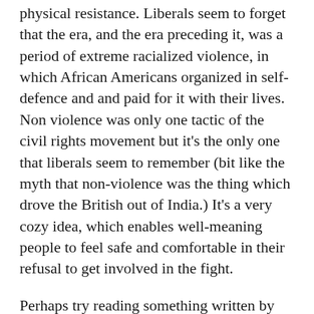physical resistance. Liberals seem to forget that the era, and the era preceding it, was a period of extreme racialized violence, in which African Americans organized in self-defence and and paid for it with their lives. Non violence was only one tactic of the civil rights movement but it's the only one that liberals seem to remember (bit like the myth that non-violence was the thing which drove the British out of India.) It's a very cozy idea, which enables well-meaning people to feel safe and comfortable in their refusal to get involved in the fight.
Perhaps try reading something written by people involved in the civil rights